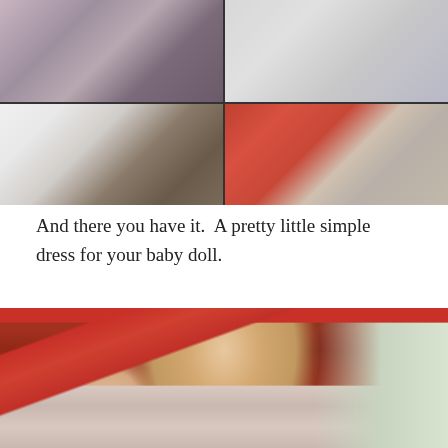[Figure (photo): A 2x2 grid of close-up photos showing details of a handmade baby doll wearing a floral dress with white eyelet collar trim and red yarn hair]
And there you have it.  A pretty little simple dress for your baby doll.
[Figure (photo): A handmade Waldorf-style baby doll with red yarn hair in pigtails, simple embroidered face, wearing a floral patterned dress, photographed in front of a window]